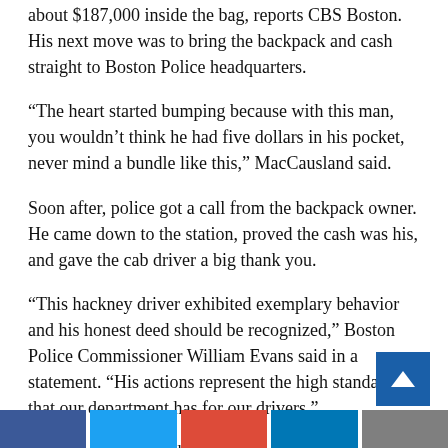about $187,000 inside the bag, reports CBS Boston. His next move was to bring the backpack and cash straight to Boston Police headquarters.
“The heart started bumping because with this man, you wouldn’t think he had five dollars in his pocket, never mind a bundle like this,” MacCausland said.
Soon after, police got a call from the backpack owner. He came down to the station, proved the cash was his, and gave the cab driver a big thank you.
“This hackney driver exhibited exemplary behavior and his honest deed should be recognized,” Boston Police Commissioner William Evans said in a statement. “His actions represent the high standards that our department has for our drivers.”
The large sum of cash was the passenger’s inheritance, and he had the trust agreement to show it.